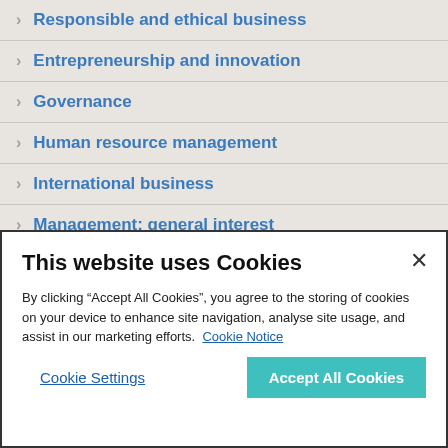Responsible and ethical business
Entrepreneurship and innovation
Governance
Human resource management
International business
Management: general interest
This website uses Cookies
By clicking “Accept All Cookies”, you agree to the storing of cookies on your device to enhance site navigation, analyse site usage, and assist in our marketing efforts. Cookie Notice